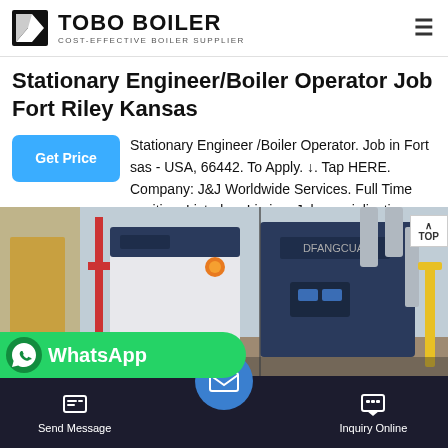TOBO BOILER — COST-EFFECTIVE BOILER SUPPLIER
Stationary Engineer/Boiler Operator Job Fort Riley Kansas
Stationary Engineer /Boiler Operator. Job in Fort sas - USA, 66442. To Apply. ↓. Tap HERE. Company: J&J Worldwide Services. Full Time position. Listed on Liming. Job specializations
[Figure (photo): Industrial boiler equipment room showing large blue/white boiler units with pipes and fittings in a factory/plant setting]
[Figure (screenshot): WhatsApp contact bar overlay at bottom, green background with phone icon and WhatsApp text. Footer navigation bar with Send Message, email, and Inquiry Online buttons on dark background.]